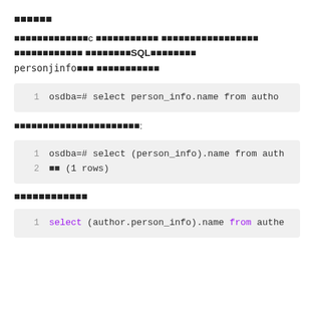提示
如果通过c 语言风格的语法访问 组合类型字段，将使用标准SQL的语法访问personjinfo数据 通则应该用以下方式：
[Figure (screenshot): Code block line 1: osdba=# select person_info.name from autho]
在括号里面放上表的复合列名称的格式为：
[Figure (screenshot): Code block lines 1-2: osdba=# select (person_info).name from auth; □□ (1 rows)]
访问复合类型
[Figure (screenshot): Code block line 1: select (author.person_info).name from authe]